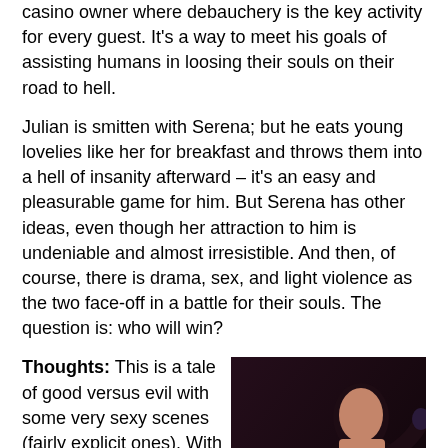casino owner where debauchery is the key activity for every guest. It's a way to meet his goals of assisting humans in loosing their souls on their road to hell.
Julian is smitten with Serena; but he eats young lovelies like her for breakfast and throws them into a hell of insanity afterward – it's an easy and pleasurable game for him. But Serena has other ideas, even though her attraction to him is undeniable and almost irresistible. And then, of course, there is drama, sex, and light violence as the two face-off in a battle for their souls. The question is: who will win?
Thoughts: This is a tale of good versus evil with some very sexy scenes (fairly explicit ones). With this dichotomy of black and white morality there are some distinct and polarized characters in Where Demons Fear to Tread. Perhaps this is a plus for a variety of readers, especially those who enjoy a world that is simply contrasted. This was a bit of a problem for me. I prefer complicated characters, and stories with "grey"
[Figure (photo): Book cover of 'The Demoness of Waking Dreams' by Stephanie, showing a dark fantasy romance cover with a woman in a dramatic pose, red title text on dark background.]